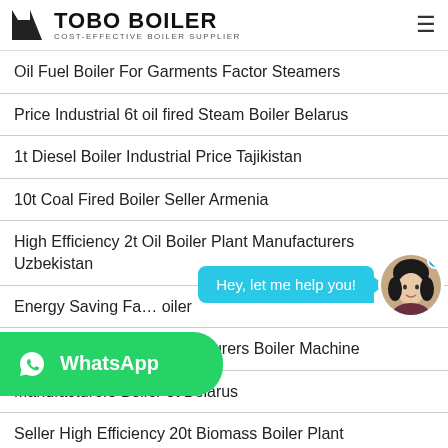TOBO BOILER — COST-EFFECTIVE BOILER SUPPLIER
Oil Fuel Boiler For Garments Factor Steamers
Price Industrial 6t oil fired Steam Boiler Belarus
1t Diesel Boiler Industrial Price Tajikistan
10t Coal Fired Boiler Seller Armenia
High Efficiency 2t Oil Boiler Plant Manufacturers Uzbekistan
Energy Saving Fa… Boiler
Commercial 6 Ton Manufacturers Boiler Machine
Manufacturers Boiler 8t Belarus
Seller High Efficiency 20t Biomass Boiler Plant